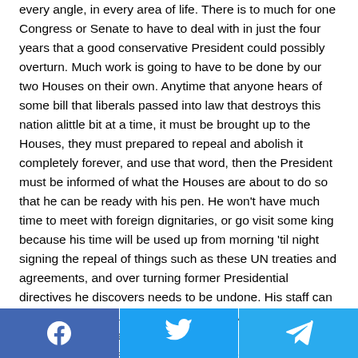every angle, in every area of life. There is to much for one Congress or Senate to have to deal with in just the four years that a good conservative President could possibly overturn. Much work is going to have to be done by our two Houses on their own. Anytime that anyone hears of some bill that liberals passed into law that destroys this nation alittle bit at a time, it must be brought up to the Houses, they must prepared to repeal and abolish it completely forever, and use that word, then the President must be informed of what the Houses are about to do so that he can be ready with his pen. He won't have much time to meet with foreign dignitaries, or go visit some king because his time will be used up from morning 'til night signing the repeal of things such as these UN treaties and agreements, and over turning former Presidential directives he discovers needs to be undone. His staff can look these things up, find out what they've done, or could do under circumstances they apply to, and hand them over to the President to be thrown in the trash and set fire to. That
[Figure (infographic): Social sharing bar with Facebook, Twitter, and Telegram buttons]